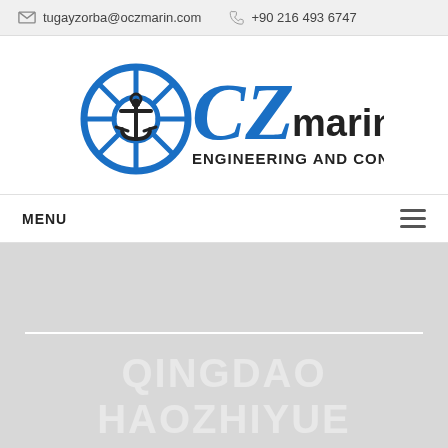tugayzorba@oczmarin.com  +90 216 493 6747
[Figure (logo): OCZ Marin Engineering and Consultancy logo — ship wheel with anchor icon and blue CZ letters with 'marin' in black, subtitle ENGINEERING AND CONSULTANCY]
MENU
QINGDAO HAOZHIYUE